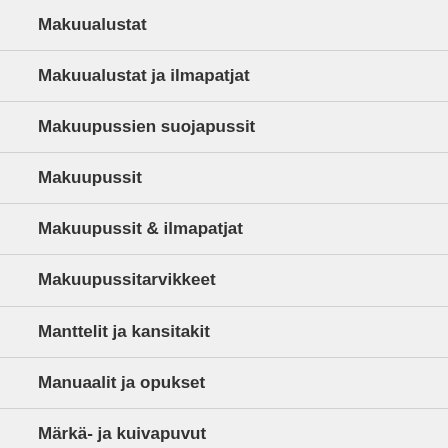Makuualustat
Makuualustat ja ilmapatjat
Makuupussien suojapussit
Makuupussit
Makuupussit & ilmapatjat
Makuupussitarvikkeet
Manttelit ja kansitakit
Manuaalit ja opukset
Märkä- ja kuivapuvut